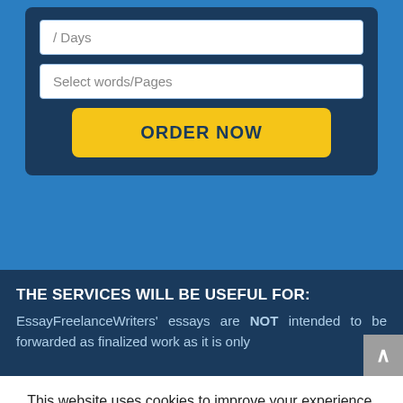[Figure (screenshot): Web form section with dark navy background containing a '/ Days' input field, a 'Select words/Pages' dropdown input, and a yellow 'ORDER NOW' button, all on a blue background.]
THE SERVICES WILL BE USEFUL FOR:
EssayFreelanceWriters' essays are NOT intended to be forwarded as finalized work as it is only
This website uses cookies to improve your experience. We'll assume you're ok with this, but you can opt-out if you wish.
ACCEPT
Read More